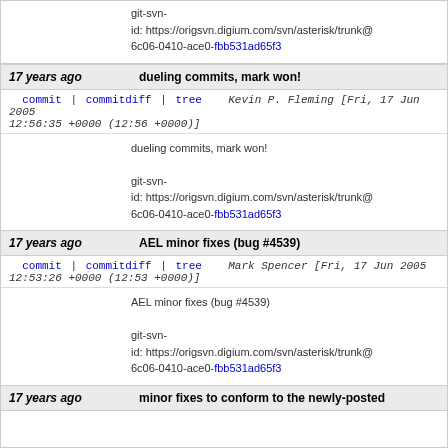git-svn-id: https://origsvn.digium.com/svn/asterisk/trunk@6c06-0410-ace0-fbb531ad65f3
17 years ago   dueling commits, mark won!
commit | commitdiff | tree   Kevin P. Fleming [Fri, 17 Jun 2005 12:56:35 +0000 (12:56 +0000)]
dueling commits, mark won!

git-svn-id: https://origsvn.digium.com/svn/asterisk/trunk@6c06-0410-ace0-fbb531ad65f3
17 years ago   AEL minor fixes (bug #4539)
commit | commitdiff | tree   Mark Spencer [Fri, 17 Jun 2005 12:53:26 +0000 (12:53 +0000)]
AEL minor fixes (bug #4539)

git-svn-id: https://origsvn.digium.com/svn/asterisk/trunk@6c06-0410-ace0-fbb531ad65f3
17 years ago   minor fixes to conform to the newly-posted